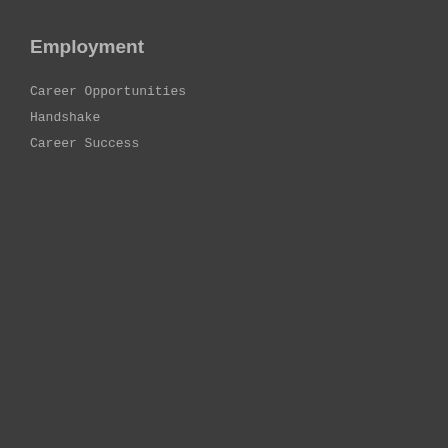Apply
Employment
Career Opportunities
Handshake
Career Success
Follow us
Twitter
Facebook
Instagram
Resources
Behavioral/General Concerns
Brand Identity
Campus Concealed Carry
CARES Act Reporting
Need Help with a Major?
Forms Hub
Fraud Reporting
University Academy
Required Links
State of Texas
Statewide Search